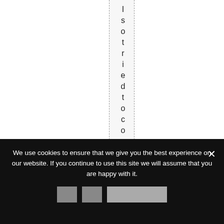I s o t r i e d t o c o n n e c t t o t h
We use cookies to ensure that we give you the best experience on our website. If you continue to use this site we will assume that you are happy with it.